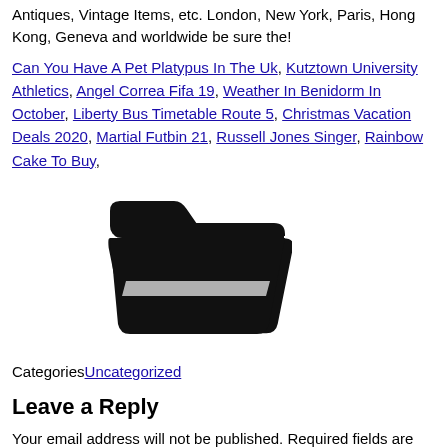Antiques, Vintage Items, etc. London, New York, Paris, Hong Kong, Geneva and worldwide be sure the!
Can You Have A Pet Platypus In The Uk, Kutztown University Athletics, Angel Correa Fifa 19, Weather In Benidorm In October, Liberty Bus Timetable Route 5, Christmas Vacation Deals 2020, Martial Futbin 21, Russell Jones Singer, Rainbow Cake To Buy,
[Figure (illustration): Black folder icon, open folder graphic]
CategoriesUncategorized
Leave a Reply
Your email address will not be published. Required fields are marked *
Comment